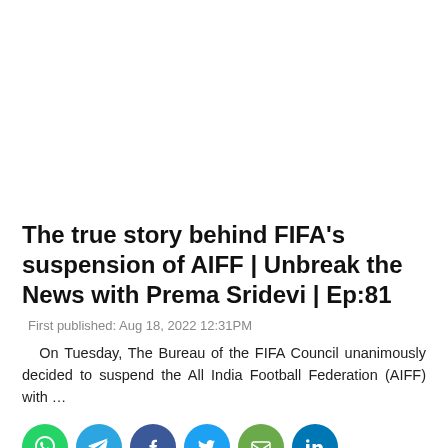The true story behind FIFA's suspension of AIFF | Unbreak the News with Prema Sridevi | Ep:81
First published: Aug 18, 2022 12:31PM
On Tuesday, The Bureau of the FIFA Council unanimously decided to suspend the All India Football Federation (AIFF) with …
[Figure (other): Row of social media share icons: WhatsApp (green), Telegram (blue), Facebook (dark blue), Twitter (light blue), Email (green), LinkedIn (blue)]